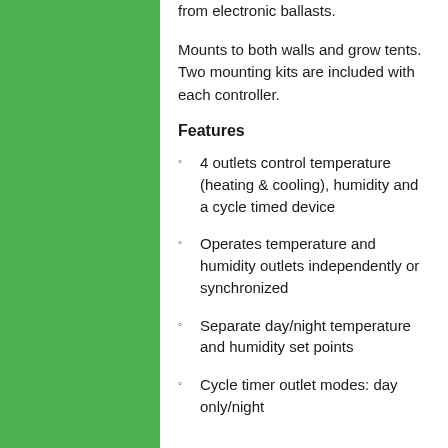from electronic ballasts.
Mounts to both walls and grow tents. Two mounting kits are included with each controller.
Features
4 outlets control temperature (heating & cooling), humidity and a cycle timed device
Operates temperature and humidity outlets independently or synchronized
Separate day/night temperature and humidity set points
Cycle timer outlet modes: day only/night